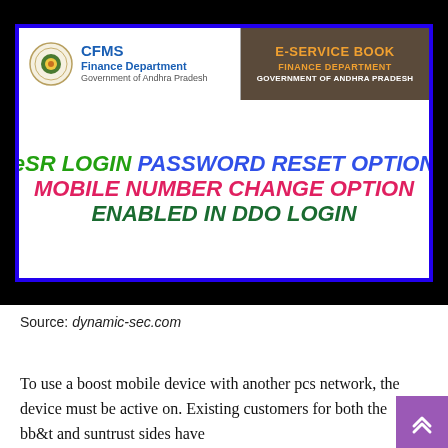[Figure (screenshot): CFMS Finance Department / E-Service Book Government of Andhra Pradesh header with announcement: eSR LOGIN PASSWORD RESET OPTION, MOBILE NUMBER CHANGE OPTION, ENABLED IN DDO LOGIN]
Source: dynamic-sec.com
To use a boost mobile device with another pcs network, the device must be active on. Existing customers for both the bb&t and suntrust sides have